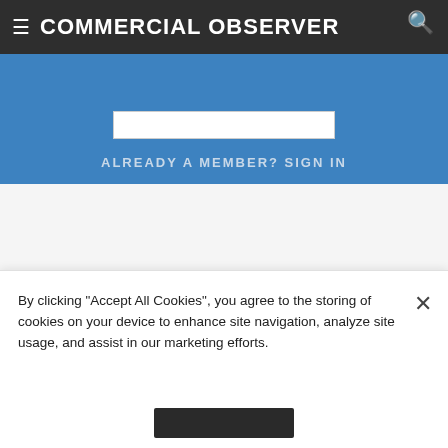COMMERCIAL OBSERVER
ALREADY A MEMBER? SIGN IN
KEYWORDS:  520 East 117th Street,  Blumenfeld Development Group,  Costco,  Crown Retail Services,  East River Plaza,  Forest City Ratner
By clicking "Accept All Cookies", you agree to the storing of cookies on your device to enhance site navigation, analyze site usage, and assist in our marketing efforts.